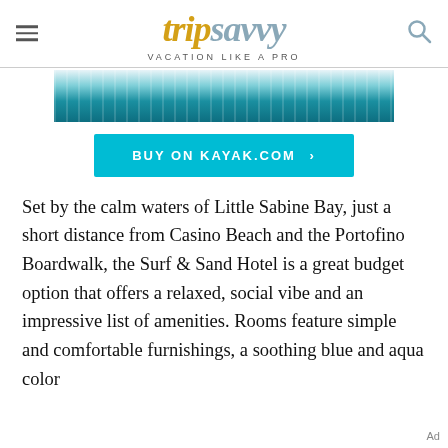tripsavvy VACATION LIKE A PRO
[Figure (photo): Aerial view of beach with lounge chairs and blue water]
[Figure (other): BUY ON KAYAK.COM button in teal/cyan color]
Set by the calm waters of Little Sabine Bay, just a short distance from Casino Beach and the Portofino Boardwalk, the Surf & Sand Hotel is a great budget option that offers a relaxed, social vibe and an impressive list of amenities. Rooms feature simple and comfortable furnishings, a soothing blue and aqua color
Ad